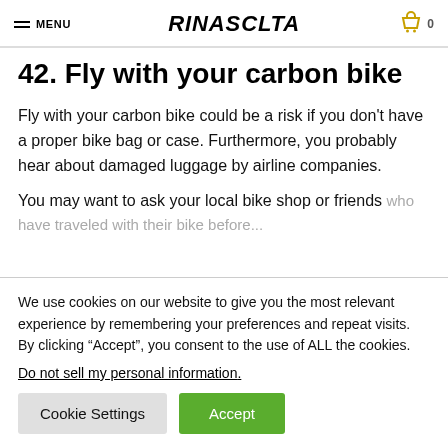MENU | RINASCLTA | 0
42. Fly with your carbon bike
Fly with your carbon bike could be a risk if you don't have a proper bike bag or case. Furthermore, you probably hear about damaged luggage by airline companies.
You may want to ask your local bike shop or friends who have traveled with their bike before...
We use cookies on our website to give you the most relevant experience by remembering your preferences and repeat visits. By clicking “Accept”, you consent to the use of ALL the cookies.
Do not sell my personal information.